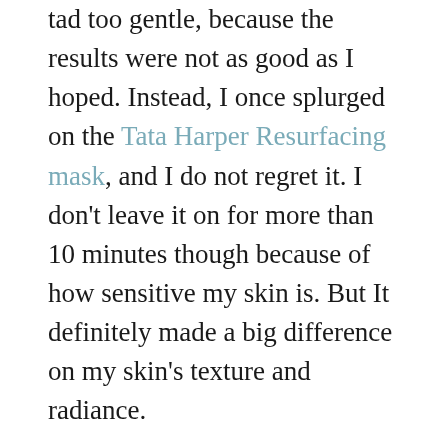tad too gentle, because the results were not as good as I hoped. Instead, I once splurged on the Tata Harper Resurfacing mask, and I do not regret it. I don't leave it on for more than 10 minutes though because of how sensitive my skin is. But It definitely made a big difference on my skin's texture and radiance.
3. Hydrating Mask. I, sometimes, depending on what I feel my skin needs, use a hydrating mask after all of these steps. If I don't, I apply Aesop Parsley Seed Oil. Anyways, the hydrating masks I